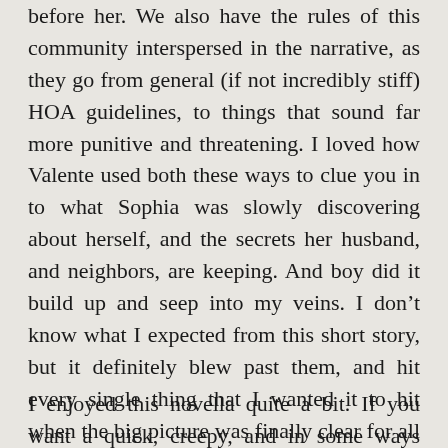before her. We also have the rules of this community interspersed in the narrative, as they go from general (if not incredibly stiff) HOA guidelines, to things that sound far more punitive and threatening. I loved how Valente used both these ways to clue you in to what Sophia was slowly discovering about herself, and the secrets her husband, and neighbors, are keeping. And boy did it build up and seep into my veins. I don't know what I expected from this short story, but it definitely blew past them, and hit every single thing that I wanted it to hit when the big picture was finally clear for all to see.
I enjoyed this novella quite a bit. If you want a quick, creepy, and in some ways frustrating (in